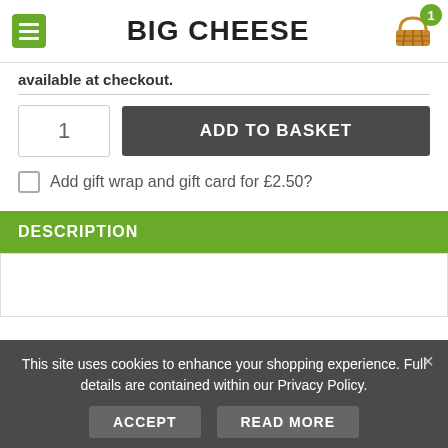BIG CHEESE
available at checkout.
1
ADD TO BASKET
Add gift wrap and gift card for £2.50?
DESCRIPTION
This site uses cookies to enhance your shopping experience. Full details are contained within our Privacy Policy.
ACCEPT
READ MORE